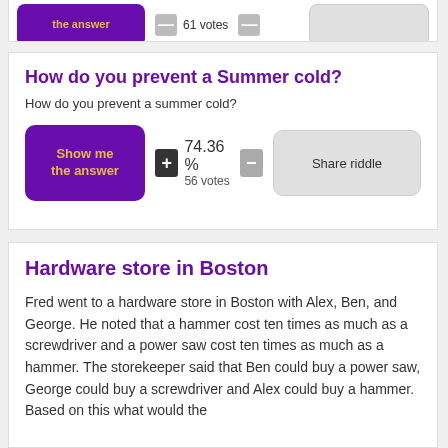the answer  61 votes
How do you prevent a Summer cold?
How do you prevent a summer cold?
Show me the answer  74.36 %  56 votes  Share riddle
Hardware store in Boston
Fred went to a hardware store in Boston with Alex, Ben, and George. He noted that a hammer cost ten times as much as a screwdriver and a power saw cost ten times as much as a hammer. The storekeeper said that Ben could buy a power saw, George could buy a screwdriver and Alex could buy a hammer. Based on this what would the storekeeper let Fred buy?